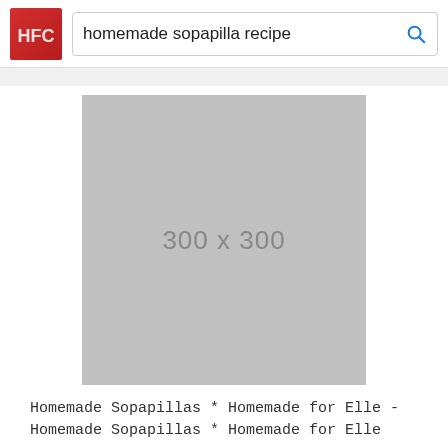[Figure (screenshot): Website header with red logo (HFC) and search bar containing 'homemade sopapilla recipe' with a blue search icon]
[Figure (other): Gray image placeholder showing dimensions 300 x 300]
Homemade Sopapillas * Homemade for Elle - Homemade Sopapillas * Homemade for Elle